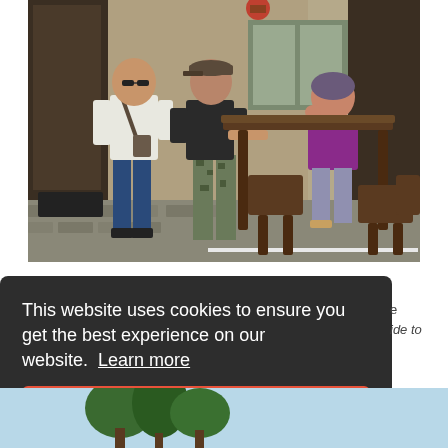[Figure (photo): Three people at an outdoor cafe terrace with wicker bar stools and a high table against a stone building facade. Left: older man in white shirt and jeans with crossbody bag. Center: person in black top and camouflage pants leaning on table. Right: woman in purple top seated at table.]
This website uses cookies to ensure you get the best experience on our website. Learn more
Got it!
[Figure (photo): Partial view of outdoor scenery with trees and light blue sky at the bottom of the page.]